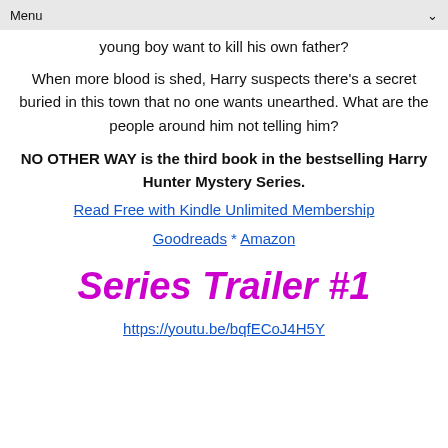Menu
young boy want to kill his own father?
When more blood is shed, Harry suspects there's a secret buried in this town that no one wants unearthed. What are the people around him not telling him?
NO OTHER WAY is the third book in the bestselling Harry Hunter Mystery Series.
Read Free with Kindle Unlimited Membership
Goodreads * Amazon
Series Trailer #1
https://youtu.be/bqfECoJ4H5Y